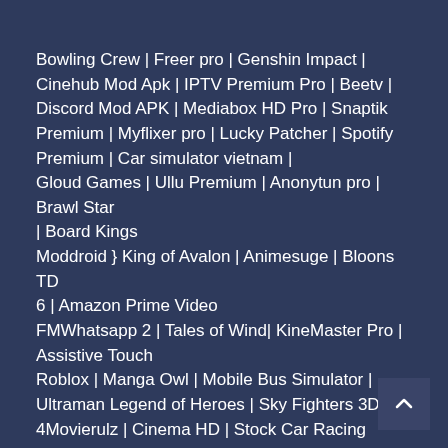Bowling Crew | Freer pro | Genshin Impact | Cinehub Mod Apk | IPTV Premium Pro | Beetv | Discord Mod APK | Mediabox HD Pro | Snaptik Premium | Myflixer pro | Lucky Patcher | Spotify Premium | Car simulator vietnam | Gloud Games | Ullu Premium | Anonytun pro | Brawl Star
| Board Kings
Moddroid } King of Avalon | Animesuge | Bloons TD 6 | Amazon Prime Video
FMWhatsapp 2 | Tales of Wind| KineMaster Pro | Assistive Touch
Roblox | Manga Owl | Mobile Bus Simulator | Ultraman Legend of Heroes | Sky Fighters 3D | 4Movierulz | Cinema HD | Stock Car Racing